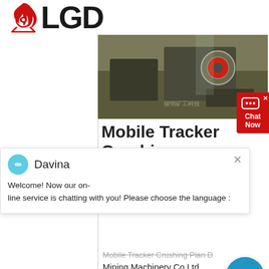[Figure (logo): LGD company logo with red flame/gear icon and bold LGD text]
[Figure (photo): Industrial mobile tracker crushing plant machinery photo]
Mobile Tracker Crushing
[Figure (screenshot): Chat widget overlay with avatar of Davina and welcome message]
Mining Machinery Co Ltd Capacity:11000t/h Mobile impact track plantchina mobile impact track plant mobile impact track plantchina mobile impact track plant China mobile impact track plant select 2020 mobile impact track plant products from verified china mobile impact track plant manufacturers suppliers on , mobile tracker crushing plant dm mining machinery As well as